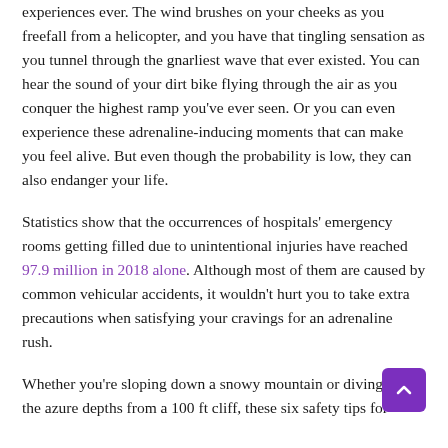Extreme sports can give you one of the most thrilling experiences ever. The wind brushes on your cheeks as you freefall from a helicopter, and you have that tingling sensation as you tunnel through the gnarliest wave that ever existed. You can hear the sound of your dirt bike flying through the air as you conquer the highest ramp you've ever seen. Or you can even experience these adrenaline-inducing moments that can make you feel alive. But even though the probability is low, they can also endanger your life.
Statistics show that the occurrences of hospitals' emergency rooms getting filled due to unintentional injuries have reached 97.9 million in 2018 alone. Although most of them are caused by common vehicular accidents, it wouldn't hurt you to take extra precautions when satisfying your cravings for an adrenaline rush.
Whether you're sloping down a snowy mountain or diving onto the azure depths from a 100 ft cliff, these six safety tips for